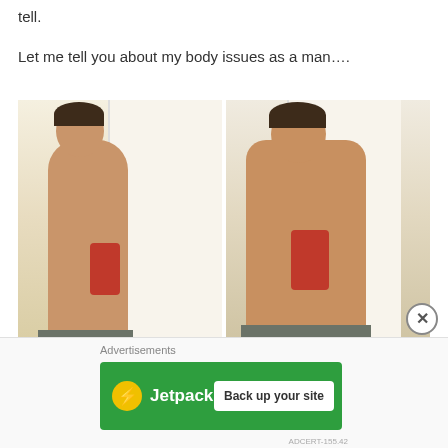tell.
Let me tell you about my body issues as a man….
[Figure (photo): Two side-by-side bathroom mirror selfies of a young man: left image shows a side profile view of a lean physique; right image shows a front-facing view with a larger/heavier build. Both wearing grey boxer shorts, holding a red phone.]
Advertisements
[Figure (other): Jetpack advertisement banner with green background, yellow bolt logo, and 'Back up your site' call-to-action button]